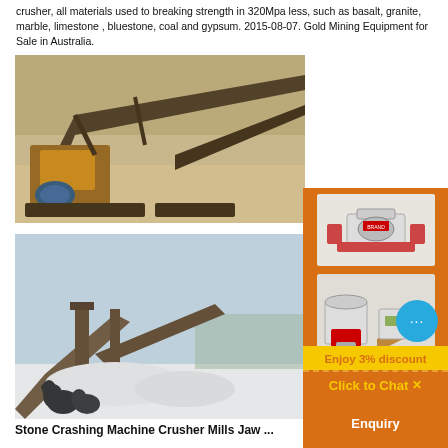crusher, all materials used to breaking strength in 320Mpa less, such as basalt, granite, marble, limestone , bluestone, coal and gypsum. 2015-08-07. Gold Mining Equipment for Sale in Australia.
[Figure (photo): Outdoor photo of a large mobile stone crushing plant on a trailer, showing conveyor belts and orange/yellow machinery against a beige sandy background.]
[Figure (photo): Outdoor photo of a stone crushing and screening plant with conveyor belts in winter, with snow on the ground and a black bear visible in the foreground.]
[Figure (illustration): Orange sidebar advertisement showing industrial crusher/mill machines with text 'Enjoy 3% discount', 'Click to Chat' (dashed border), and 'Enquiry' buttons, plus a blue chat bubble icon.]
Stone Crashing Machine Crusher Mills Jaw ...